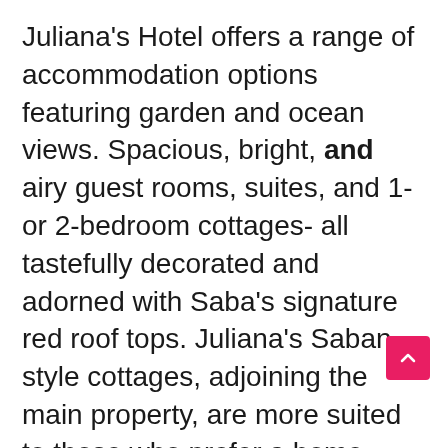Juliana's Hotel offers a range of accommodation options featuring garden and ocean views. Spacious, bright, and airy guest rooms, suites, and 1- or 2-bedroom cottages- all tastefully decorated and adorned with Saba's signature red roof tops. Juliana's Saban style cottages, adjoining the main property, are more suited to those who prefer a home space to a hotel room.
Juliana's Hotel also features an on-site restaurant and bar, overlooking the pool, which provides breathtaking panoramic views of the mountainside and crystal blue water of the Caribbean Sea. For more dining